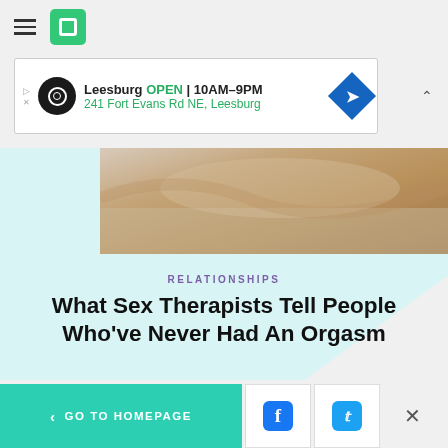HuffPost navigation header with hamburger menu and logo
[Figure (screenshot): Advertisement banner: Leesburg OPEN 10AM-9PM, 241 Fort Evans Rd NE, Leesburg]
[Figure (photo): Top partial photo of bedding/fabric in warm tones]
RELATIONSHIPS
What Sex Therapists Tell People Who've Never Had An Orgasm
[Figure (photo): Photo of a person with dark hair sitting with head down, yellow shelves in background]
< GO TO HOMEPAGE | Facebook share | Twitter share | Close